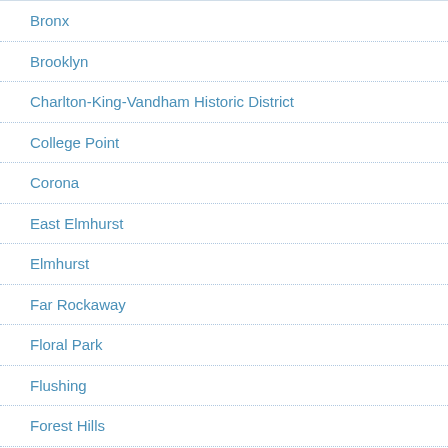Bronx
Brooklyn
Charlton-King-Vandham Historic District
College Point
Corona
East Elmhurst
Elmhurst
Far Rockaway
Floral Park
Flushing
Forest Hills
Fresh Meadows